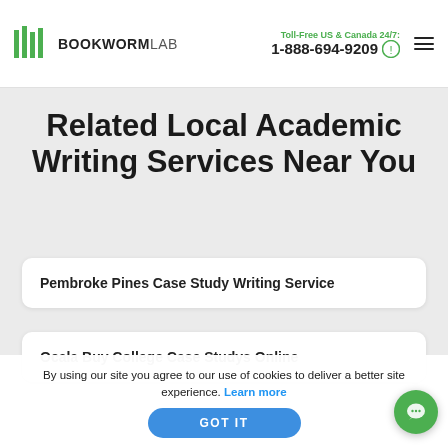BOOKWORMLAB | Toll-Free US & Canada 24/7: 1-888-694-9209
Related Local Academic Writing Services Near You
Pembroke Pines Case Study Writing Service
Ocala Buy College Case Studys Online
By using our site you agree to our use of cookies to deliver a better site experience. Learn more
GOT IT